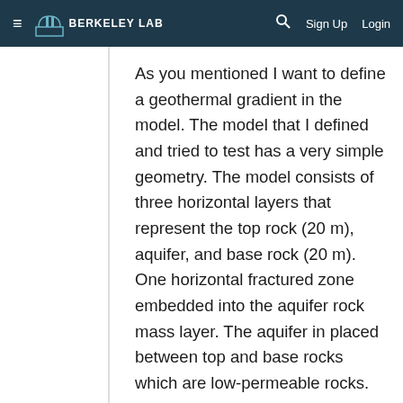≡  BERKELEY LAB   🔍  Sign Up  Login
As you mentioned I want to define a geothermal gradient in the model. The model that I defined and tried to test has a very simple geometry. The model consists of three horizontal layers that represent the top rock (20 m), aquifer, and base rock (20 m). One horizontal fractured zone embedded into the aquifer rock mass layer. The aquifer in placed between top and base rocks which are low-permeable rocks. The height and length of the model are 100 meters. The initial temperature and pressure at the top of the model are 64.6° C and 11.77 MPa and at the bottom of the model are 67.9 ° C and